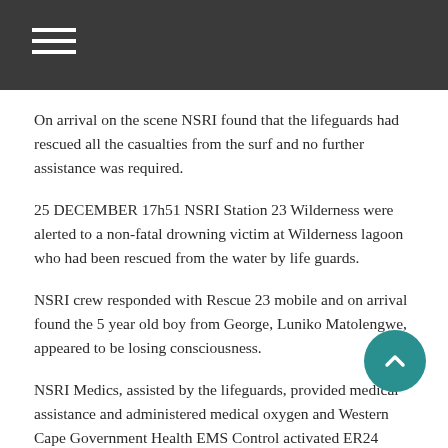On arrival on the scene NSRI found that the lifeguards had rescued all the casualties from the surf and no further assistance was required.
25 DECEMBER 17h51 NSRI Station 23 Wilderness were alerted to a non-fatal drowning victim at Wilderness lagoon who had been rescued from the water by life guards.
NSRI crew responded with Rescue 23 mobile and on arrival found the 5 year old boy from George, Luniko Matolengwe, appeared to be losing consciousness.
NSRI Medics, assisted by the lifeguards, provided medical assistance and administered medical oxygen and Western Cape Government Health EMS Control activated ER24 ambulance services who responded to the scene.
The child, in a stable condition, displaying non-fatal